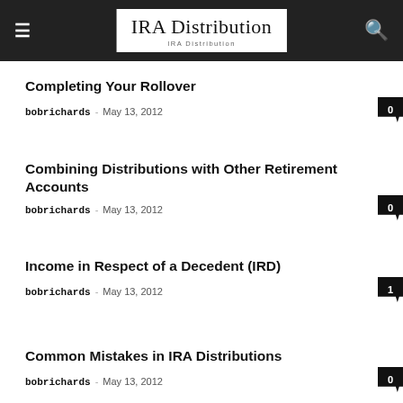IRA Distribution
Completing Your Rollover
bobrichards  -  May 13, 2012  0
Combining Distributions with Other Retirement Accounts
bobrichards  -  May 13, 2012  0
Income in Respect of a Decedent (IRD)
bobrichards  -  May 13, 2012  1
Common Mistakes in IRA Distributions
bobrichards  -  May 13, 2012  0